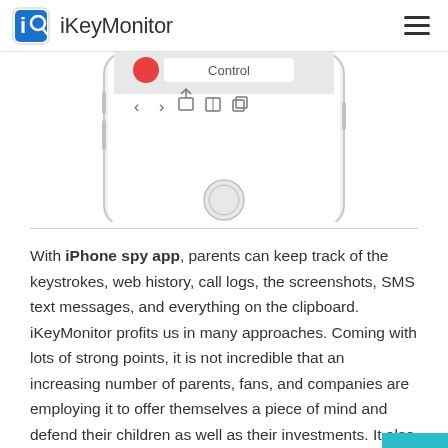iKeyMonitor
[Figure (screenshot): Partial screenshot of an iPhone showing browser navigation bar with 'Control' label and navigation icons, home button visible at bottom]
With iPhone spy app, parents can keep track of the keystrokes, web history, call logs, the screenshots, SMS text messages, and everything on the clipboard. iKeyMonitor profits us in many approaches. Coming with lots of strong points, it is not incredible that an increasing number of parents, fans, and companies are employing it to offer themselves a piece of mind and defend their children as well as their investments. It also has ge fancing and GPS tracking features. You can choos